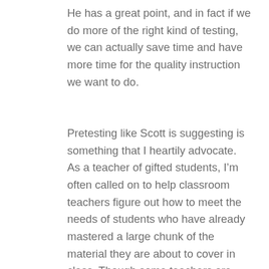He has a great point, and in fact if we do more of the right kind of testing, we can actually save time and have more time for the quality instruction we want to do.
Pretesting like Scott is suggesting is something that I heartily advocate. As a teacher of gifted students, I'm often called on to help classroom teachers figure out how to meet the needs of students who have already mastered a large chunk of the material they are about to cover in class. Though some teachers are open and willing to learn how to compact the curriculum by letting kids “test out” of some things they’ve already learned, many are reluctant. They are afraid they won’t have enough “scores” for the child to